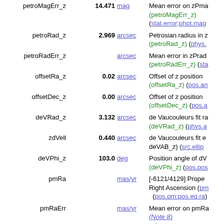| Name | Value | Unit | Description |
| --- | --- | --- | --- |
| petroMagErr_z | 14.471 | mag | Mean error on zPma... (petroMagErr_z) (stat.error;phot.mag... |
| petroRad_z | 2.969 | arcsec | Petrosian radius in z... (petroRad_z) (phys.... |
| petroRadErr_z |  | arcsec | Mean error in zPrad... (petroRadErr_z) (sta... |
| offsetRa_z | 0.02 | arcsec | Offset of z position ... (offsetRa_z) (pos.an... |
| offsetDec_z | 0.00 | arcsec | Offset of z position ... (offsetDec_z) (pos.a... |
| deVRad_z | 3.132 | arcsec | de Vaucouleurs fit ra... (deVRad_z) (phys.a... |
| zdVell | 0.440 | arcsec | de Vaucouleurs fit e... deVAB_z) (src.ellip... |
| deVPhi_z | 103.0 | deg | Position angle of dV... (deVPhi_z) (pos.pos... |
| pmRa |  | mas/yr | [-6121/4129] Proper... Right Ascension (pm... (pos.pm;pos.eq.ra) |
| pmRaErr |  | mas/yr | Mean error on pmRa... (Note 8) (stat.error;pos.pm;... |